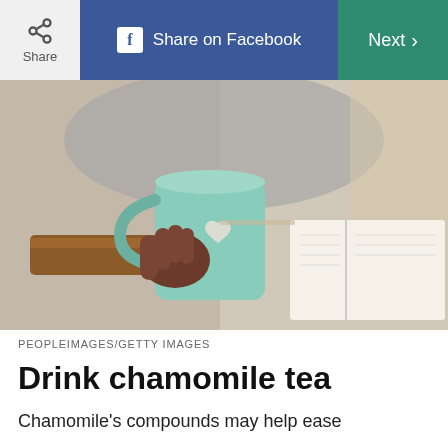Share | Share on Facebook | Next
[Figure (photo): Person holding a mint green mug with a heart on it, resting on a wooden surface, with an open book in background]
PEOPLEIMAGES/GETTY IMAGES
Drink chamomile tea
Chamomile's compounds may help ease